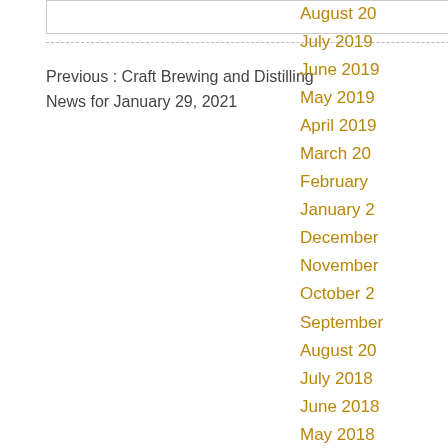Previous : Craft Brewing and Distilling News for January 29, 2021
Next : DISCUS: U.S. Supplier Revenues, Volumes Jump In 2020
August 20
July 2019
June 2019
May 2019
April 2019
March 20
February
January 2
December
November
October 2
September
August 20
July 2018
June 2018
May 2018
April 2018
March 20
February
January 2
December
November